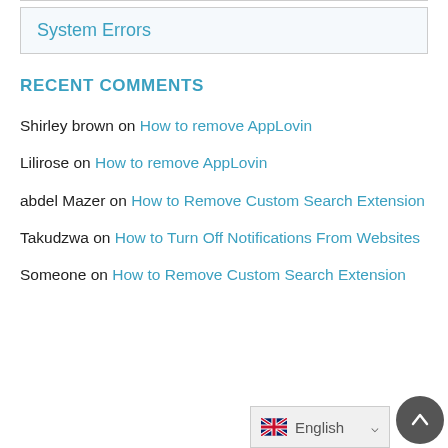System Errors
RECENT COMMENTS
Shirley brown on How to remove AppLovin
Lilirose on How to remove AppLovin
abdel Mazer on How to Remove Custom Search Extension
Takudzwa on How to Turn Off Notifications From Websites
Someone on How to Remove Custom Search Extension
English